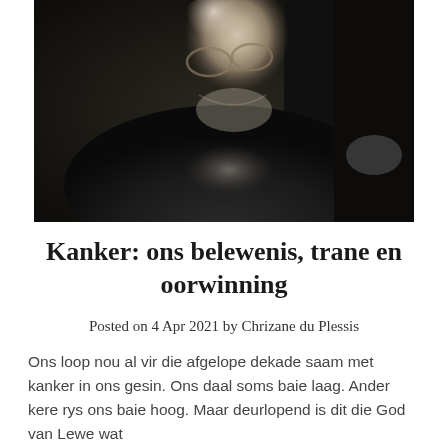[Figure (photo): Smiling older man with glasses, grey stubble beard, wearing a dark jacket with grey collar, photographed indoors in low light, looking upward and laughing]
Kanker: ons belewenis, trane en oorwinning
Posted on 4 Apr 2021 by Chrizane du Plessis
Ons loop nou al vir die afgelope dekade saam met kanker in ons gesin. Ons daal soms baie laag. Ander kere rys ons baie hoog. Maar deurlopend is dit die God van Lewe wat...